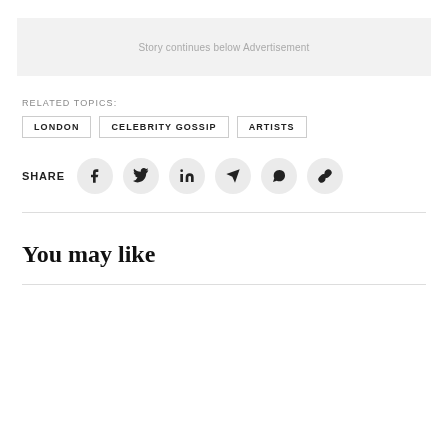Story continues below Advertisement
RELATED TOPICS:
LONDON
CELEBRITY GOSSIP
ARTISTS
SHARE
You may like